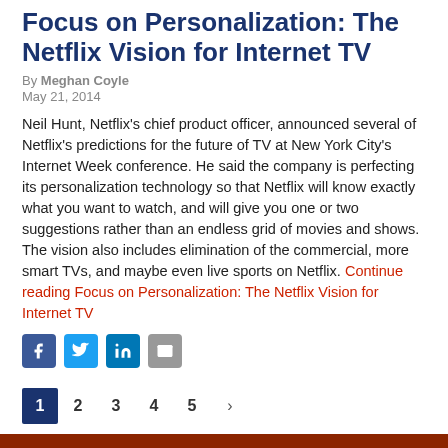Focus on Personalization: The Netflix Vision for Internet TV
By Meghan Coyle
May 21, 2014
Neil Hunt, Netflix's chief product officer, announced several of Netflix's predictions for the future of TV at New York City's Internet Week conference. He said the company is perfecting its personalization technology so that Netflix will know exactly what you want to watch, and will give you one or two suggestions rather than an endless grid of movies and shows. The vision also includes elimination of the commercial, more smart TVs, and maybe even live sports on Netflix. Continue reading Focus on Personalization: The Netflix Vision for Internet TV
[Figure (other): Social share icons: Facebook, Twitter, LinkedIn, Email]
1 2 3 4 5 ›
TOP STORIES
Cox Launches Its New Mobile Service Pilot in Three Markets